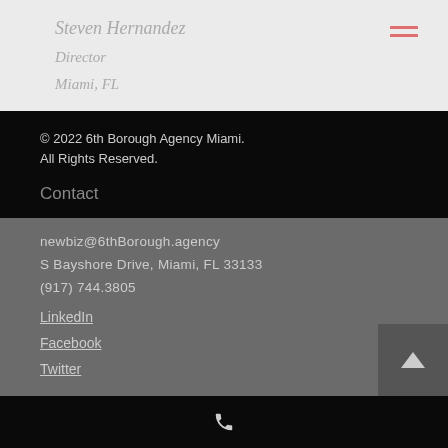Steven Hernandez
Director
Miami, FL
© 2022 6th Borough Agency Miami. All Rights Reserved.
Contact
newbiz@6thBorough.agency
S Bayshore Drive, Miami, FL 33133
(917) 744.3805
LinkedIn
Facebook
Twitter